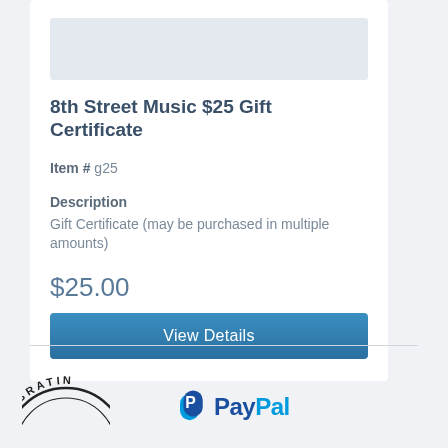[Figure (other): Product image placeholder — light gray rectangle]
8th Street Music $25 Gift Certificate
Item # g25
Description
Gift Certificate (may be purchased in multiple amounts)
$25.00
View Details
[Figure (logo): Circular stamp logo partially visible at bottom left, text reads CELEBRATIN]
[Figure (logo): PayPal logo at bottom — blue P icon followed by PayPal text in blue]